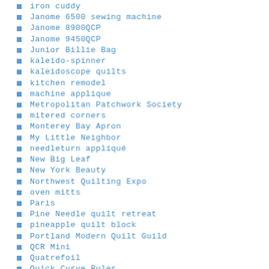iron cuddy
Janome 6500 sewing machine
Janome 8900QCP
Janome 9450QCP
Junior Billie Bag
kaleido-spinner
kaleidoscope quilts
kitchen remodel
machine applique
Metropolitan Patchwork Society
mitered corners
Monterey Bay Apron
My Little Neighbor
needleturn appliqué
New Big Leaf
New York Beauty
Northwest Quilting Expo
oven mitts
Paris
Pine Needle quilt retreat
pineapple quilt block
Portland Modern Quilt Guild
QCR Mini
Quatrefoil
Quick Curve Ruler
quilt labels